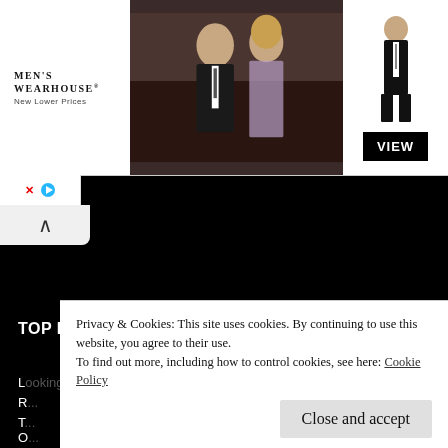[Figure (photo): Men's Wearhouse advertisement banner showing a couple (man in dark suit, woman in formal dress) and a single male figure in a tuxedo, with a 'VIEW' button on the right side. Brand name and 'New Lower Prices' text on the left.]
TOP POSTS & PAGES
...
R...
T...
O...
Privacy & Cookies: This site uses cookies. By continuing to use this website, you agree to their use.
To find out more, including how to control cookies, see here: Cookie Policy
Close and accept